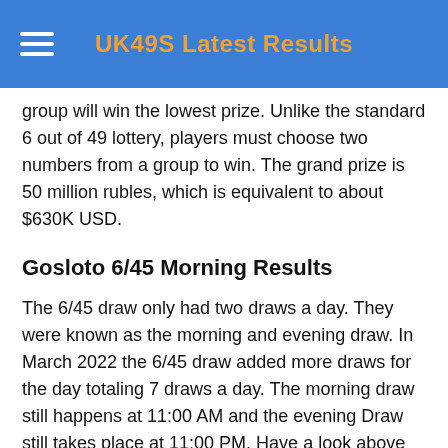UK49S Latest Results
group will win the lowest prize. Unlike the standard 6 out of 49 lottery, players must choose two numbers from a group to win. The grand prize is 50 million rubles, which is equivalent to about $630K USD.
Gosloto 6/45 Morning Results
The 6/45 draw only had two draws a day. They were known as the morning and evening draw. In March 2022 the 6/45 draw added more draws for the day totaling 7 draws a day. The morning draw still happens at 11:00 AM and the evening Draw still takes place at 11:00 PM. Have a look above on this page and you will see all the draw times.